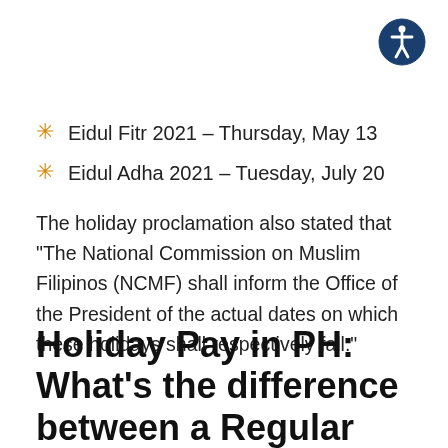[Figure (logo): Accessibility icon: white person in a circle on dark blue background]
Eidul Fitr 2021 – Thursday, May 13
Eidul Adha 2021 – Tuesday, July 20
The holiday proclamation also stated that “The National Commission on Muslim Filipinos (NCMF) shall inform the Office of the President of the actual dates on which these holidays shall respectively fall.”
Holiday Pay in PH: What’s the difference between a Regular